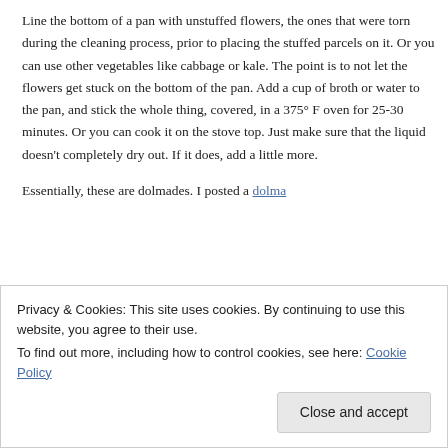Line the bottom of a pan with unstuffed flowers, the ones that were torn during the cleaning process, prior to placing the stuffed parcels on it. Or you can use other vegetables like cabbage or kale. The point is to not let the flowers get stuck on the bottom of the pan. Add a cup of broth or water to the pan, and stick the whole thing, covered, in a 375° F oven for 25-30 minutes. Or you can cook it on the stove top. Just make sure that the liquid doesn't completely dry out. If it does, add a little more.
Essentially, these are dolmades. I posted a dolma
Privacy & Cookies: This site uses cookies. By continuing to use this website, you agree to their use.
To find out more, including how to control cookies, see here: Cookie Policy